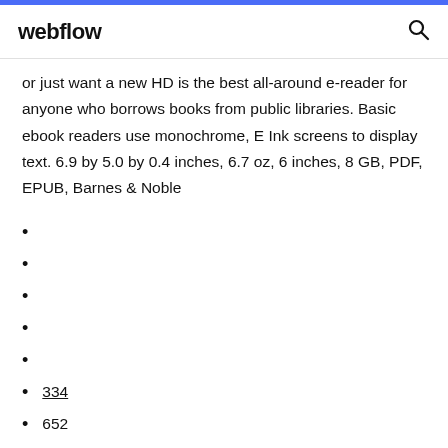webflow
or just want a new HD is the best all-around e-reader for anyone who borrows books from public libraries. Basic ebook readers use monochrome, E Ink screens to display text. 6.9 by 5.0 by 0.4 inches, 6.7 oz, 6 inches, 8 GB, PDF, EPUB, Barnes & Noble
334
652